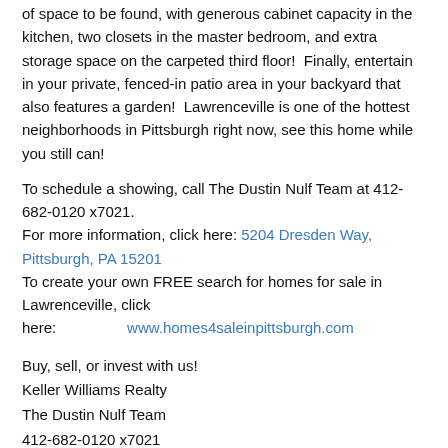of space to be found, with generous cabinet capacity in the kitchen, two closets in the master bedroom, and extra storage space on the carpeted third floor!  Finally, entertain in your private, fenced-in patio area in your backyard that also features a garden!  Lawrenceville is one of the hottest neighborhoods in Pittsburgh right now, see this home while you still can!
To schedule a showing, call The Dustin Nulf Team at 412-682-0120 x7021.
For more information, click here: 5204 Dresden Way, Pittsburgh, PA 15201
To create your own FREE search for homes for sale in Lawrenceville, click here: www.homes4saleinpittsburgh.com
Buy, sell, or invest with us!
Keller Williams Realty
The Dustin Nulf Team
412-682-0120 x7021
www.thedustinnulfteam.com